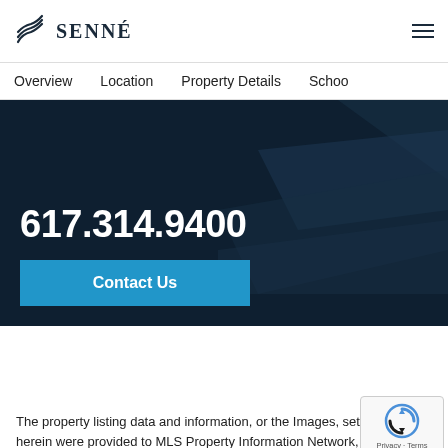SENNÉ
Overview  Location  Property Details  Schoo
617.314.9400
Contact Us
The property listing data and information, or the Images, set herein were provided to MLS Property Information Network, Inc. from